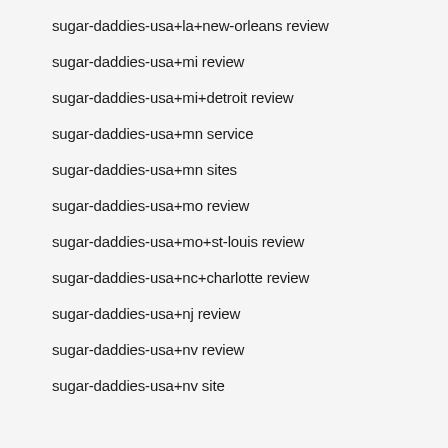sugar-daddies-usa+la+new-orleans review
sugar-daddies-usa+mi review
sugar-daddies-usa+mi+detroit review
sugar-daddies-usa+mn service
sugar-daddies-usa+mn sites
sugar-daddies-usa+mo review
sugar-daddies-usa+mo+st-louis review
sugar-daddies-usa+nc+charlotte review
sugar-daddies-usa+nj review
sugar-daddies-usa+nv review
sugar-daddies-usa+nv site